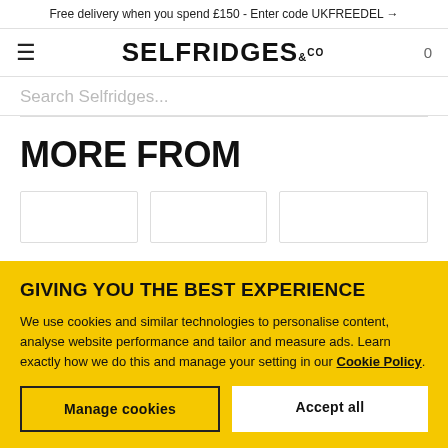Free delivery when you spend £150 - Enter code UKFREEDEL →
SELFRIDGES &CO
Search Selfridges...
MORE FROM
GIVING YOU THE BEST EXPERIENCE
We use cookies and similar technologies to personalise content, analyse website performance and tailor and measure ads. Learn exactly how we do this and manage your setting in our Cookie Policy.
Manage cookies
Accept all